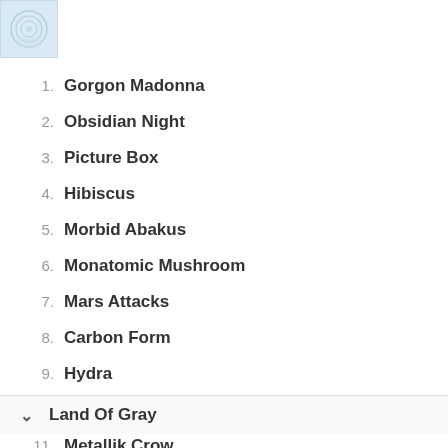[Figure (illustration): Album art thumbnail: light blue background with a vinyl record icon in white/light gray]
1. Gorgon Madonna
2. Obsidian Night
3. Picture Box
4. Hibiscus
5. Morbid Abakus
6. Monatomic Mushroom
7. Mars Attacks
8. Carbon Form
9. Hydra
10. Ochre
11. Metallik Crow
Land Of Gray